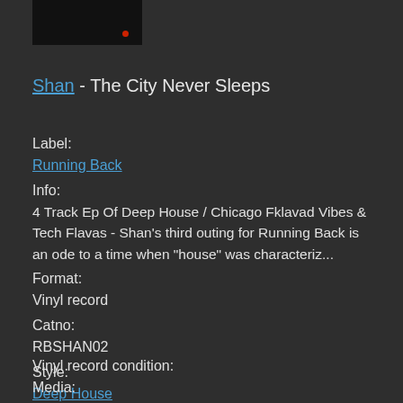[Figure (photo): Album cover thumbnail - dark/black image with small red dot]
Shan - The City Never Sleeps
Label:
Running Back
Info:
4 Track Ep Of Deep House / Chicago Fklavad Vibes & Tech Flavas - Shan's third outing for Running Back is an ode to a time when "house" was characteriz...
Format:
Vinyl record
Catno:
RBSHAN02
Style:
Deep House
Tech House
Acid House
Chicago House
Vinyl record condition:
Media: